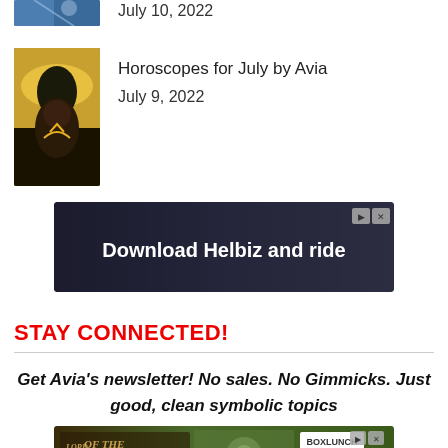July 10, 2022
[Figure (photo): Partial thumbnail of an article image at top]
Horoscopes for July by Avia
July 9, 2022
[Figure (photo): Person wearing a large yellow hat making a heart shape with hands]
[Figure (photo): Advertisement banner: Download Helbiz and ride]
STAY CONNECTED!
Get Avia's newsletter! No sales. No Gimmicks. Just good, clean symbolic topics
[Figure (photo): Advertisement: Lord of the Rings - BoxLunch Shop Now]